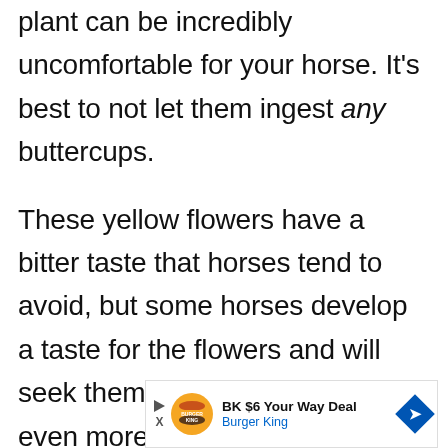plant can be incredibly uncomfortable for your horse. It's best to not let them ingest any buttercups.
These yellow flowers have a bitter taste that horses tend to avoid, but some horses develop a taste for the flowers and will seek them out, making it even more important to
[Figure (other): Burger King advertisement banner: BK $6 Your Way Deal, Burger King]